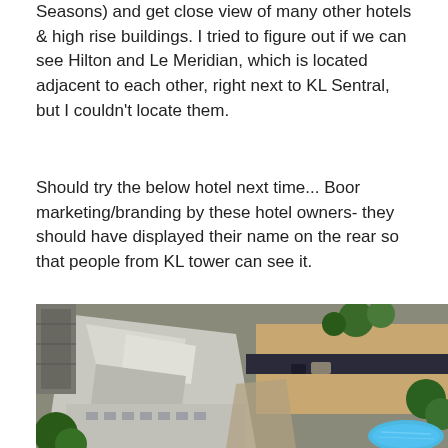Seasons) and get close view of many other hotels & high rise buildings. I tried to figure out if we can see Hilton and Le Meridian, which is located adjacent to each other, right next to KL Sentral, but I couldn't locate them.
Should try the below hotel next time... Boor marketing/branding by these hotel owners- they should have displayed their name on the rear so that people from KL tower can see it.
[Figure (photo): Aerial/top-down photograph of hotel buildings and surroundings, showing rooftops, a swimming pool in the bottom right corner, trees, and a construction/sand area in the upper right.]